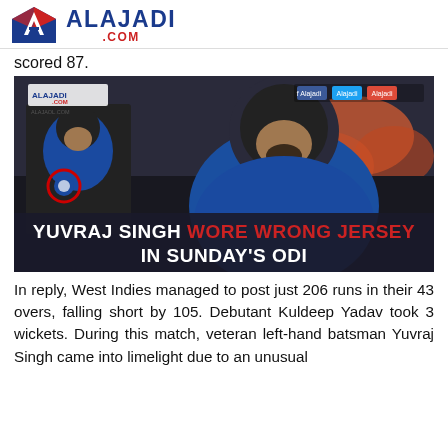ALAJADI .COM
scored 87.
[Figure (photo): Cricket player Yuvraj Singh in Indian team jersey wearing helmet, looking upward, with a smaller inset image showing jersey detail with a red circle highlight. Banner text reads: YUVRAJ SINGH WORE WRONG JERSEY IN SUNDAY'S ODI. Social media icons (Facebook, Twitter, Google+) labeled Alajadi visible top right. Alajadi.com logo in top-left corner of image.]
In reply, West Indies managed to post just 206 runs in their 43 overs, falling short by 105. Debutant Kuldeep Yadav took 3 wickets. During this match, veteran left-hand batsman Yuvraj Singh came into limelight due to an unusual